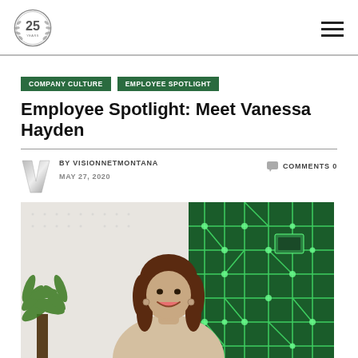VisionNet Montana - 25th Anniversary logo and hamburger menu
COMPANY CULTURE
EMPLOYEE SPOTLIGHT
Employee Spotlight: Meet Vanessa Hayden
BY VISIONNETMONTANA  MAY 27, 2020  COMMENTS 0
[Figure (photo): Woman smiling, standing in front of a green circuit board art print and plants in an office setting]